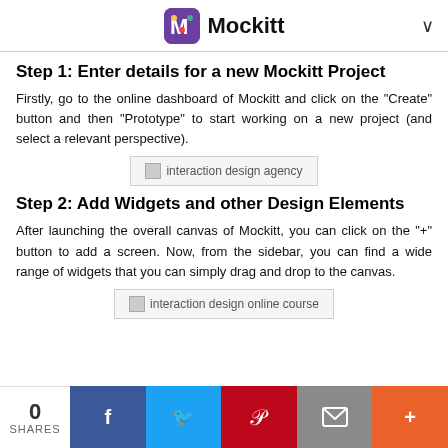Mockitt
Step 1: Enter details for a new Mockitt Project
Firstly, go to the online dashboard of Mockitt and click on the "Create" button and then "Prototype" to start working on a new project (and select a relevant perspective).
[Figure (screenshot): interaction design agency screenshot placeholder]
Step 2: Add Widgets and other Design Elements
After launching the overall canvas of Mockitt, you can click on the "+" button to add a screen. Now, from the sidebar, you can find a wide range of widgets that you can simply drag and drop to the canvas.
[Figure (screenshot): interaction design online course screenshot placeholder]
0 SHARES | Facebook | Twitter | Pinterest | Email | More